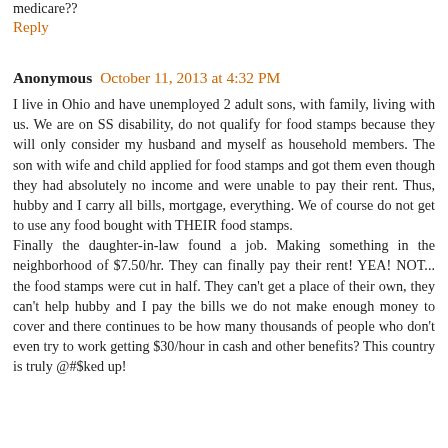medicare??
Reply
Anonymous October 11, 2013 at 4:32 PM
I live in Ohio and have unemployed 2 adult sons, with family, living with us. We are on SS disability, do not qualify for food stamps because they will only consider my husband and myself as household members. The son with wife and child applied for food stamps and got them even though they had absolutely no income and were unable to pay their rent. Thus, hubby and I carry all bills, mortgage, everything. We of course do not get to use any food bought with THEIR food stamps.
Finally the daughter-in-law found a job. Making something in the neighborhood of $7.50/hr. They can finally pay their rent! YEA! NOT... the food stamps were cut in half. They can't get a place of their own, they can't help hubby and I pay the bills we do not make enough money to cover and there continues to be how many thousands of people who don't even try to work getting $30/hour in cash and other benefits? This country is truly @#$ked up!